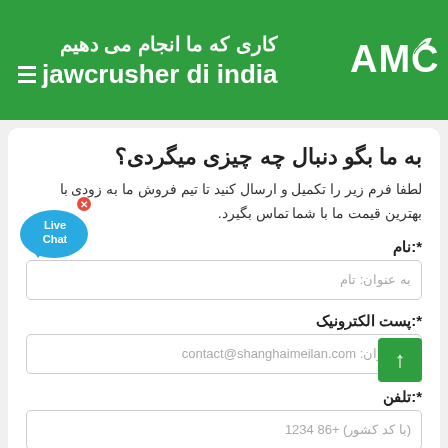کاری که ما انجام می دهیم
jawcrusher di india
به ما بگو دنبال چه چیزی میگردی؟
لطفا فرم زیر را تکمیل و ارسال کنید تا تیم فروش ما به زودی با بهترین قیمت ما با شما تماس بگیرد.
نام:*
به عنوان: تام
پست الکترونیک:*
به عنوان: contact@shanghaimeilan.com
تلفن:*
(با کد کشور) +86 1234
محل پروژه: